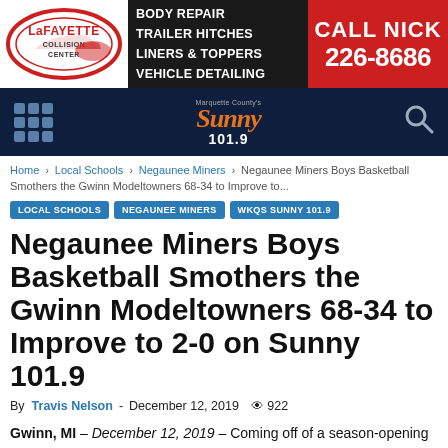[Figure (logo): LaFayette Collision Center advertisement banner with body repair services and phone number CALL NICK 226-8686]
[Figure (logo): Sunny 101.9 radio station navigation bar with grid menu icon and search icon]
Home › Local Schools › Negaunee Miners › Negaunee Miners Boys Basketball Smothers the Gwinn Modeltowners 68-34 to Improve to...
LOCAL SCHOOLS
NEGAUNEE MINERS
WKQS SUNNY 101.9
Negaunee Miners Boys Basketball Smothers the Gwinn Modeltowners 68-34 to Improve to 2-0 on Sunny 101.9
By Travis Nelson - December 12, 2019  922
Gwinn, MI – December 12, 2019 – Coming off of a season-opening victory over Escanaba last Tuesday, the Negaunee Miners Boys